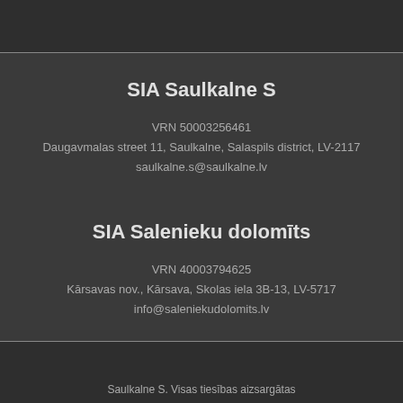SIA Saulkalne S
VRN 50003256461
Daugavmalas street 11, Saulkalne, Salaspils district, LV-2117
saulkalne.s@saulkalne.lv
SIA Salenieku dolomīts
VRN 40003794625
Kārsavas nov., Kārsava, Skolas iela 3B-13, LV-5717
info@saleniekudolomits.lv
Saulkalne S. Visas tiesības aizsargātas